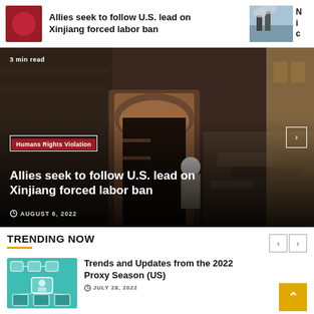[Figure (screenshot): Navigation bar with red icon and article title 'Allies seek to follow U.S. lead on Xinjiang forced labor ban', and a photo of industrial smokestacks on the right]
[Figure (photo): Hero image of a person in a deteriorating alley/building with carved wooden door, overlaid with text: '3 min read', category tag 'Humans Rights Violation', headline 'Allies seek to follow U.S. lead on Xinjiang forced labor ban', date 'AUGUST 6, 2022']
TRENDING NOW
[Figure (illustration): Teal/green illustration showing a network or digital connectivity diagram with people icons]
Trends and Updates from the 2022 Proxy Season (US)
JULY 28, 2022